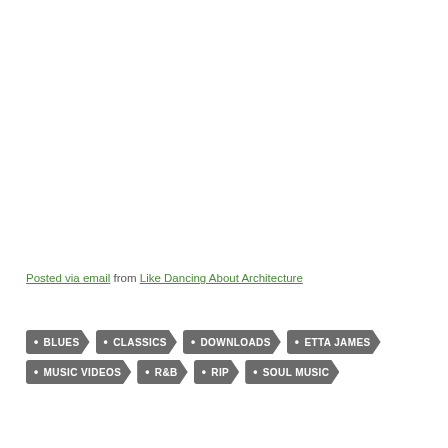Posted via email from Like Dancing About Architecture
BLUES
CLASSICS
DOWNLOADS
ETTA JAMES
MUSIC VIDEOS
R&B
RIP
SOUL MUSIC